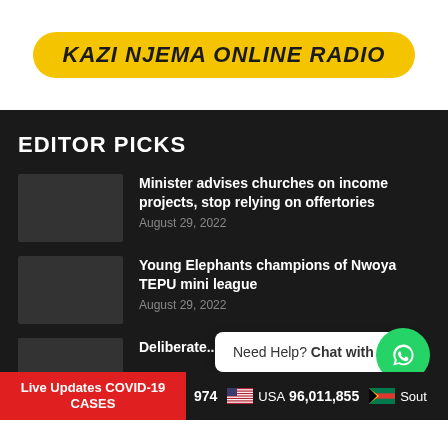[Figure (logo): Kazi Njema Online Radio logo — yellow oval/pill shape with bold italic black text]
EDITOR PICKS
Minister advises churches on income projects, stop relying on offertories
August 29, 2022
Young Elephants champions of Nwoya TEPU mini league
August 29, 2022
Deliberate...
Need Help? Chat with us
Live Updates COVID-19 CASES
974  USA  96,011,855  Sout